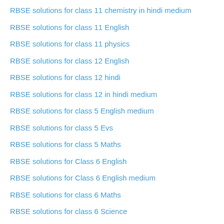RBSE solutions for class 11 chemistry in hindi medium
RBSE solutions for class 11 English
RBSE solutions for class 11 physics
RBSE solutions for class 12 English
RBSE solutions for class 12 hindi
RBSE solutions for class 12 in hindi medium
RBSE solutions for class 5 English medium
RBSE solutions for class 5 Evs
RBSE solutions for class 5 Maths
RBSE solutions for Class 6 English
RBSE solutions for Class 6 English medium
RBSE solutions for class 6 Maths
RBSE solutions for class 6 Science
RBSE solutions for Class 7 english
RBSE solutions for Class 7 maths